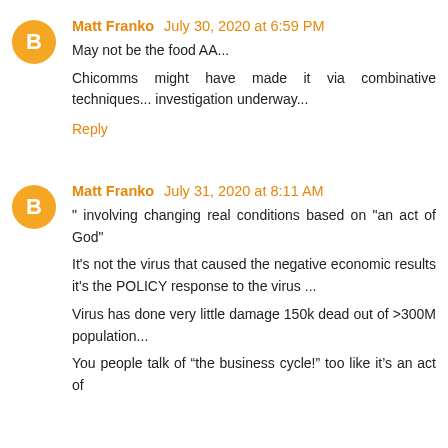Matt Franko July 30, 2020 at 6:59 PM
May not be the food AA...
Chicomms might have made it via combinative techniques... investigation underway...
Reply
Matt Franko July 31, 2020 at 8:11 AM
" involving changing real conditions based on "an act of God"
It's not the virus that caused the negative economic results it's the POLICY response to the virus ...
Virus has done very little damage 150k dead out of >300M population...
You people talk of “the business cycle!” too like it’s an act of